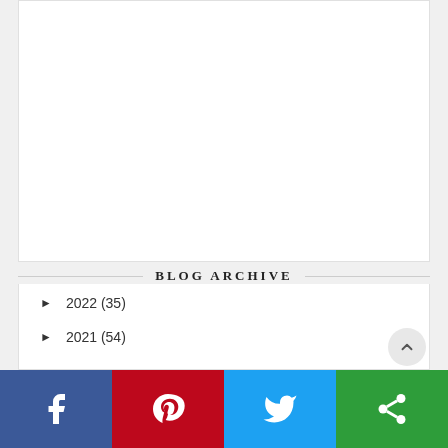[Figure (other): White content box area (top section, mostly empty/white background)]
BLOG ARCHIVE
► 2022 (35)
► 2021 (54)
[Figure (other): Social sharing bar with four buttons: Facebook (blue), Pinterest (red), Twitter (light blue), Share/other (green)]